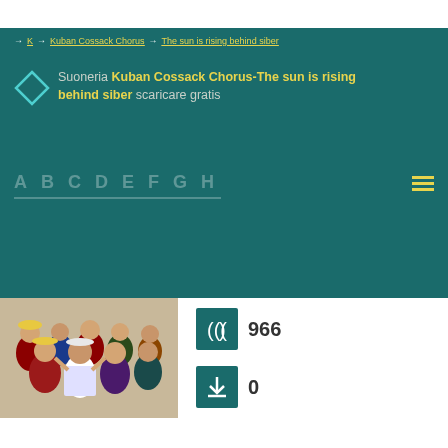→ K → Kuban Cossack Chorus → The sun is rising behind siber
Suoneria Kuban Cossack Chorus-The sun is rising behind siber scaricare gratis
A B C D E F G H ≡
[Figure (photo): Photo of the Kuban Cossack Chorus performers in traditional costumes]
966
0